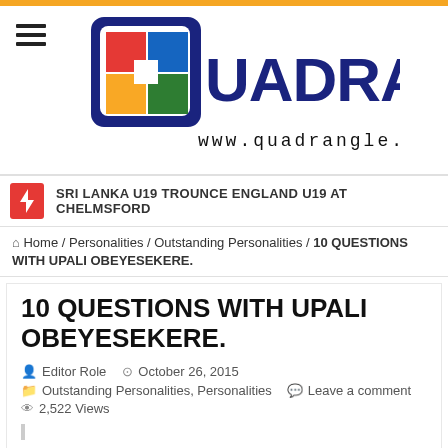[Figure (logo): Quadrangle logo with colorful quadrant squares and text QUADRANGLE, www.quadrangle.lk]
SRI LANKA U19 TROUNCE ENGLAND U19 AT CHELMSFORD
Home / Personalities / Outstanding Personalities / 10 QUESTIONS WITH UPALI OBEYESEKERE.
10 QUESTIONS WITH UPALI OBEYESEKERE.
Editor Role   October 26, 2015   Outstanding Personalities, Personalities   Leave a comment   2,522 Views